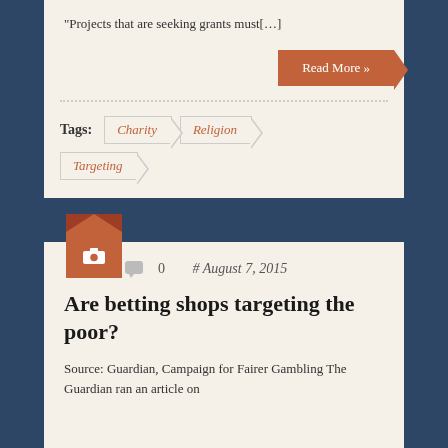“Projects that are seeking grants must[…]
Read More »
Tags:
Charity
Religion
Targeting
0  # August 7, 2015
Are betting shops targeting the poor?
Source: Guardian, Campaign for Fairer Gambling The Guardian ran an article on